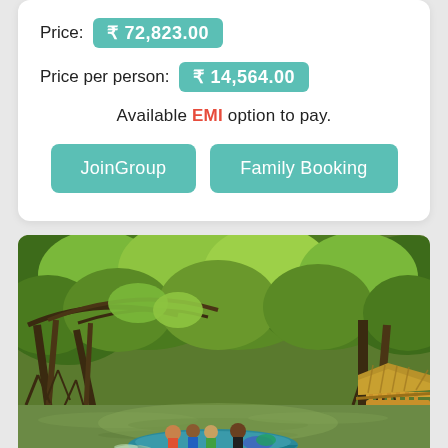Price: ₹ 72,823.00
Price per person: ₹ 14,564.00
Available EMI option to pay.
JoinGroup
Family Booking
[Figure (photo): A boat with passengers navigating through a mangrove forest river, with a thatched hut structure visible on the right bank, surrounded by dense green mangrove trees.]